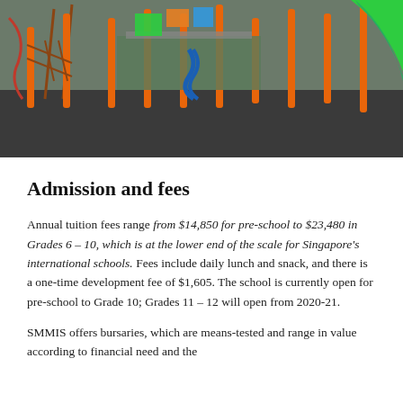[Figure (photo): Outdoor playground with colorful orange poles, climbing structures, ropes, and a green slide on a dark rubber surface floor.]
Admission and fees
Annual tuition fees range from $14,850 for pre-school to $23,480 in Grades 6 – 10, which is at the lower end of the scale for Singapore's international schools. Fees include daily lunch and snack, and there is a one-time development fee of $1,605. The school is currently open for pre-school to Grade 10; Grades 11 – 12 will open from 2020-21.
SMMIS offers bursaries, which are means-tested and range in value according to financial need and the